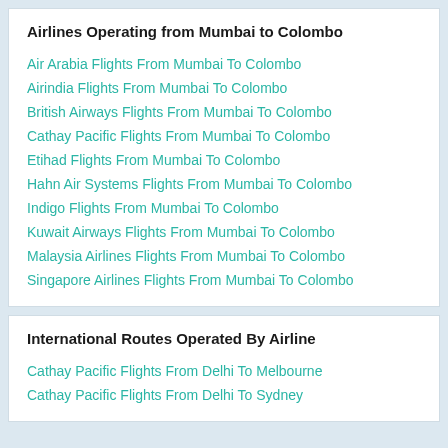Airlines Operating from Mumbai to Colombo
Air Arabia Flights From Mumbai To Colombo
Airindia Flights From Mumbai To Colombo
British Airways Flights From Mumbai To Colombo
Cathay Pacific Flights From Mumbai To Colombo
Etihad Flights From Mumbai To Colombo
Hahn Air Systems Flights From Mumbai To Colombo
Indigo Flights From Mumbai To Colombo
Kuwait Airways Flights From Mumbai To Colombo
Malaysia Airlines Flights From Mumbai To Colombo
Singapore Airlines Flights From Mumbai To Colombo
International Routes Operated By Airline
Cathay Pacific Flights From Delhi To Melbourne
Cathay Pacific Flights From Delhi To Sydney